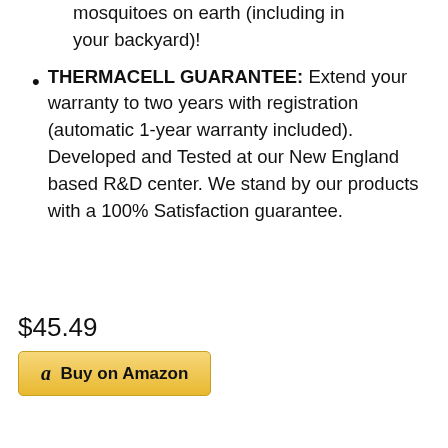mosquitoes on earth (including in your backyard)!
THERMACELL GUARANTEE: Extend your warranty to two years with registration (automatic 1-year warranty included). Developed and Tested at our New England based R&D center. We stand by our products with a 100% Satisfaction guarantee.
$45.49
Buy on Amazon